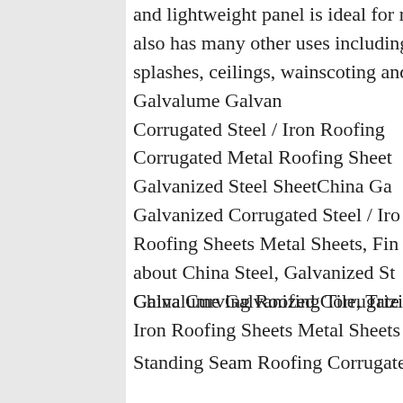and lightweight panel is ideal for roofing and siding, but also has many other uses including privacy fencing, back splashes, ceilings, wainscoting and craft projects.China Galvalume Galvanized Corrugated Steel / Iron Roofing Corrugated Metal Roofing Sheet Galvanized Steel SheetChina Galvalume Galvanized Corrugated Steel / Iron Roofing Sheets Metal Sheets, Find about China Steel, Galvanized Steel, Galvalume Galvanized Corrugated Iron Roofing Sheets Metal Sheets
[Figure (other): Chat widget with 7X24 Online header, customer service representative photo (woman with headset), Hello,may I help you? text, and Get Latest Price button]
China Curving Roofing Tile, Trizip-Standing Seam Roofing Corrugated Metal Roofing Sheet Galvanized Steel